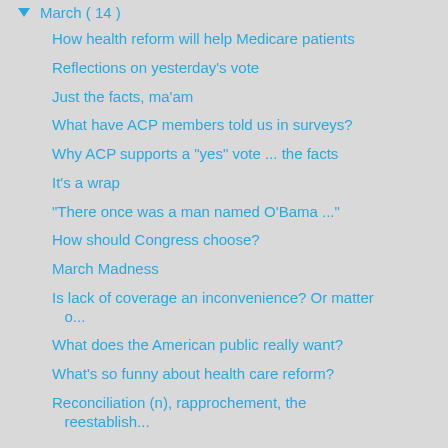▼ March ( 14 )
How health reform will help Medicare patients
Reflections on yesterday's vote
Just the facts, ma'am
What have ACP members told us in surveys?
Why ACP supports a "yes" vote ... the facts
It's a wrap
"There once was a man named O'Bama ..."
How should Congress choose?
March Madness
Is lack of coverage an inconvenience? Or matter o...
What does the American public really want?
What's so funny about health care reform?
Reconciliation (n), rapprochement, the reestablish...